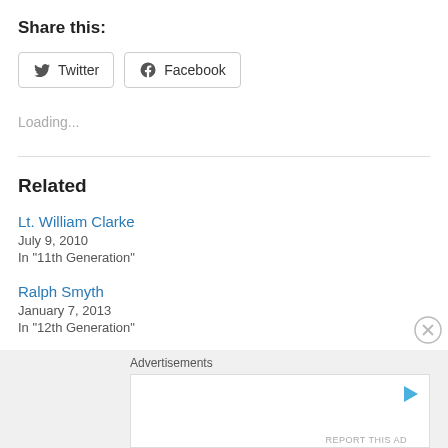Share this:
Twitter  Facebook
Loading...
Related
Lt. William Clarke
July 9, 2010
In "11th Generation"
Ralph Smyth
January 7, 2013
In "12th Generation"
Advertisements